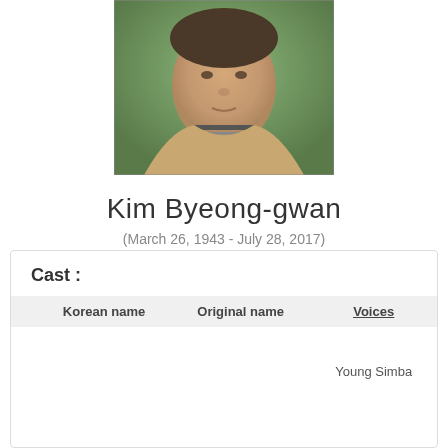[Figure (photo): Portrait photo of Kim Byeong-gwan, man in beige jacket with striped collar, green background]
Kim Byeong-gwan
(March 26, 1943 - July 28, 2017)
| Korean name | Original name | Voices |
| --- | --- | --- |
|  |  | Young Simba |